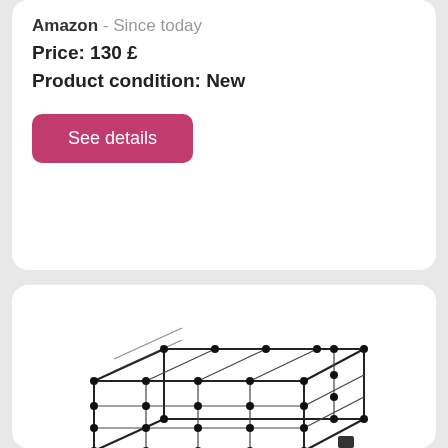Amazon - Since today
Price: 130 £
Product condition: New
See details
[Figure (photo): A wire mesh guinea pig playpen/cage with modular panels and connector clips, shown in an isometric view. A small rubber mallet is shown next to the pen.]
SONGMICS Guinea Pig Playpen, Indoor